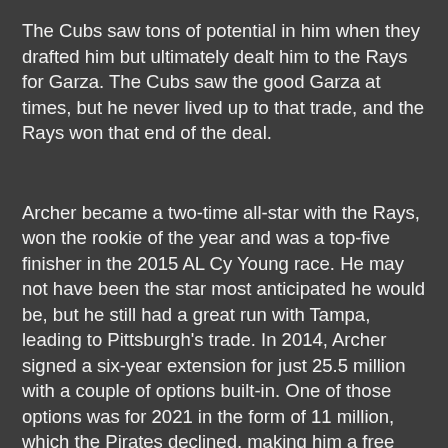The Cubs saw tons of potential in him when they drafted him but ultimately dealt him to the Rays for Garza. The Cubs saw the good Garza at times, but he never lived up to that trade, and the Rays won that end of the deal.
Archer became a two-time all-star with the Rays, won the rookie of the year and was a top-five finisher in the 2015 AL Cy Young race. He may not have been the star most anticipated he would be, but he still had a great run with Tampa, leading to Pittsburgh's trade. In 2014, Archer signed a six-year extension for just 25.5 million with a couple of options built-in. One of those options was for 2021 in the form of 11 million, which the Pirates declined, making him a free agent.
At this stage in his career, no one expects his 3.23 ERA as he posted in 2015, but if he is indeed healthy, Archer should give you an ERA in the 3.7-3.9 range, which is